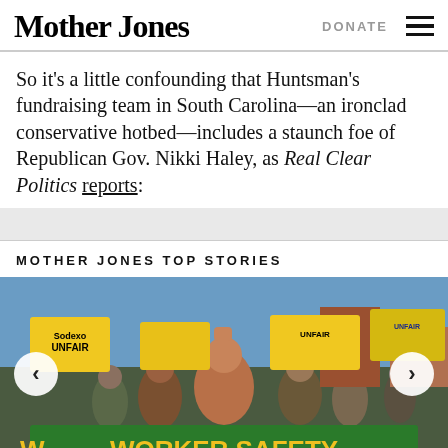Mother Jones | DONATE
So it's a little confounding that Huntsman's fundraising team in South Carolina—an ironclad conservative hotbed—includes a staunch foe of Republican Gov. Nikki Haley, as Real Clear Politics reports:
MOTHER JONES TOP STORIES
[Figure (photo): Protest photo showing people marching and holding yellow 'Unfair' signs and a green 'Worker Safety' banner. Signs include 'Sodexo Unfair'. Navigation arrows on left and right sides.]